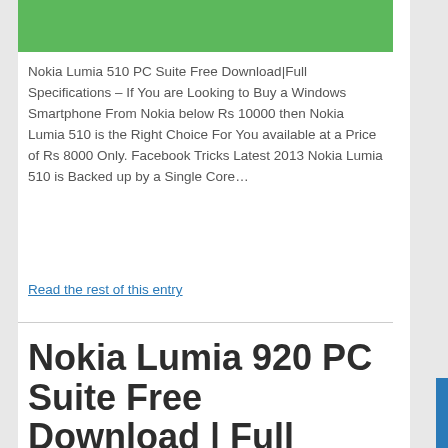[Figure (other): Green banner/header bar at top of page]
Nokia Lumia 510 PC Suite Free Download|Full Specifications – If You are Looking to Buy a Windows Smartphone From Nokia below Rs 10000 then Nokia Lumia 510 is the Right Choice For You available at a Price of Rs 8000 Only. Facebook Tricks Latest 2013 Nokia Lumia 510 is Backed up by a Single Core…
Read the rest of this entry
Nokia Lumia 920 PC Suite Free Download | Full Specifications |